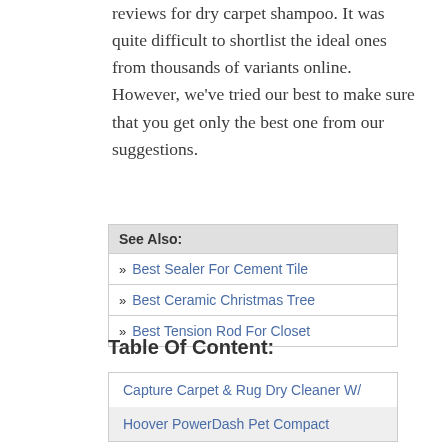reviews for dry carpet shampoo. It was quite difficult to shortlist the ideal ones from thousands of variants online. However, we've tried our best to make sure that you get only the best one from our suggestions.
| See Also: |
| --- |
| Best Sealer For Cement Tile |
| Best Ceramic Christmas Tree |
| Best Tension Rod For Closet |
Table Of Content:
| Capture Carpet & Rug Dry Cleaner W/ |
| Hoover PowerDash Pet Compact |